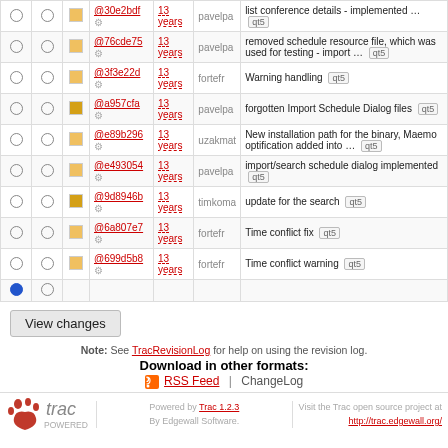|  |  |  | Rev |  | Age | Author | Log Message |
| --- | --- | --- | --- | --- | --- | --- | --- |
| ○ | ○ | □ | @30e2bdf | ⚙ | 13 years | pavelpa | list conference details - implemented … qt5 |
| ○ | ○ | □ | @76cde75 | ⚙ | 13 years | pavelpa | removed schedule resource file, which was used for testing - import … qt5 |
| ○ | ○ | □ | @3f3e22d | ⚙ | 13 years | fortefr | Warning handling qt5 |
| ○ | ○ | □ | @a957cfa | ⚙ | 13 years | pavelpa | forgotten Import Schedule Dialog files qt5 |
| ○ | ○ | □ | @e89b296 | ⚙ | 13 years | uzakmat | New installation path for the binary, Maemo optification added into … qt5 |
| ○ | ○ | □ | @e493054 | ⚙ | 13 years | pavelpa | import/search schedule dialog implemented qt5 |
| ○ | ○ | □ | @9d8946b | ⚙ | 13 years | timkoma | update for the search qt5 |
| ○ | ○ | □ | @6a807e7 | ⚙ | 13 years | fortefr | Time conflict fix qt5 |
| ○ | ○ | □ | @699d5b8 | ⚙ | 13 years | fortefr | Time conflict warning qt5 |
| ● | ○ |  |  |  |  |  |  |
View changes
Note: See TracRevisionLog for help on using the revision log.
Download in other formats:
RSS Feed | ChangeLog
Powered by Trac 1.2.3 By Edgewall Software. Visit the Trac open source project at http://trac.edgewall.org/